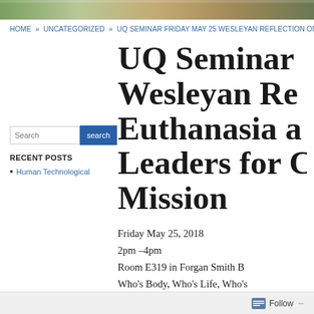[Figure (photo): Header banner image with natural/campus scenery in greens and browns]
HOME » UNCATEGORIZED » UQ SEMINAR FRIDAY MAY 25 WESLEYAN REFLECTION ON...
UQ Seminar Wesleyan Reflection on Euthanasia and Leaders for Christian Mission
Friday May 25, 2018
2pm –4pm
Room E319 in Forgan Smith B...
Who's Body, Who's Life, Who's...
[Figure (screenshot): Search input box with 'Search' placeholder text and blue search button]
RECENT POSTS
Human Technological